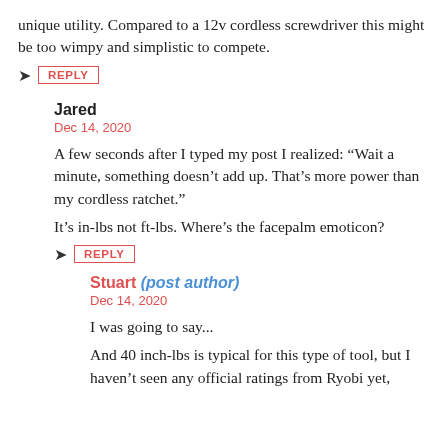unique utility. Compared to a 12v cordless screwdriver this might be too wimpy and simplistic to compete.
REPLY
Jared
Dec 14, 2020
A few seconds after I typed my post I realized: “Wait a minute, something doesn’t add up. That’s more power than my cordless ratchet.”

It’s in-lbs not ft-lbs. Where’s the facepalm emoticon?
REPLY
Stuart (post author)
Dec 14, 2020
I was going to say...

And 40 inch-lbs is typical for this type of tool, but I haven’t seen any official ratings from Ryobi yet,